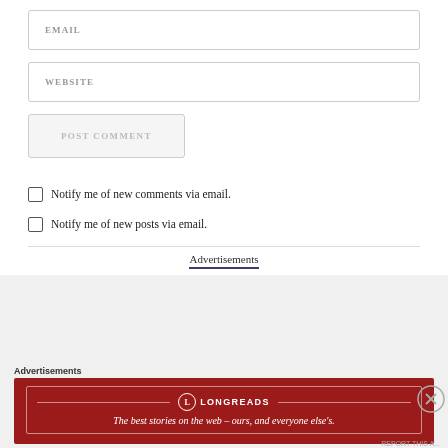EMAIL
WEBSITE
POST COMMENT
Notify me of new comments via email.
Notify me of new posts via email.
Advertisements
Advertisements
[Figure (logo): Longreads advertisement banner with red background. Logo circle with L, name LONGREADS, tagline: The best stories on the web – ours, and everyone else's.]